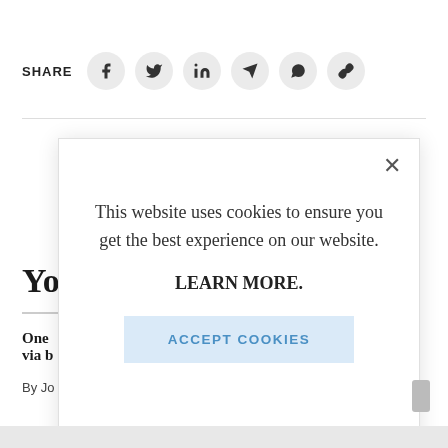SHARE
[Figure (infographic): Social share icons: Facebook, Twitter, LinkedIn, Telegram, WhatsApp, link/copy]
You
One ... via b
By Jo
This website uses cookies to ensure you get the best experience on our website.

LEARN MORE.

ACCEPT COOKIES